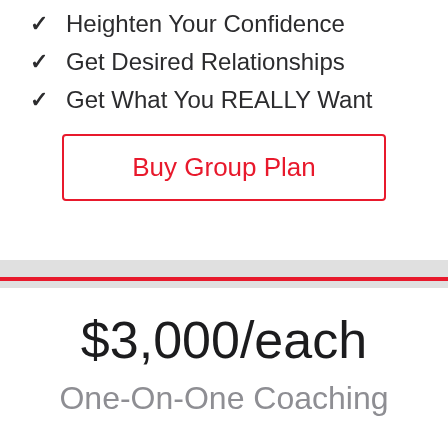✓  Heighten Your Confidence
✓  Get Desired Relationships
✓  Get What You REALLY Want
Buy Group Plan
$3,000/each
One-On-One Coaching